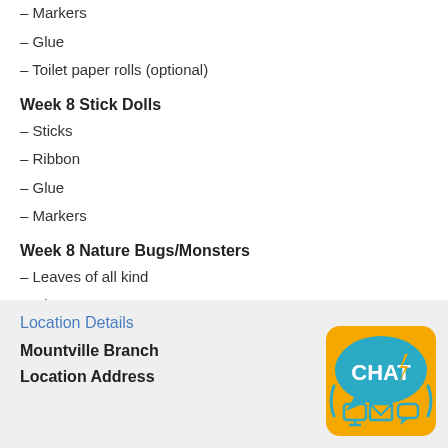– Markers
– Glue
– Toilet paper rolls (optional)
Week 8 Stick Dolls
– Sticks
– Ribbon
– Glue
– Markers
Week 8 Nature Bugs/Monsters
– Leaves of all kind
– Glue
Location Details
Mountville Branch
Location Address
[Figure (logo): CHAT logo with orange background, speech bubble shape, and icons for phone, email, and chat]